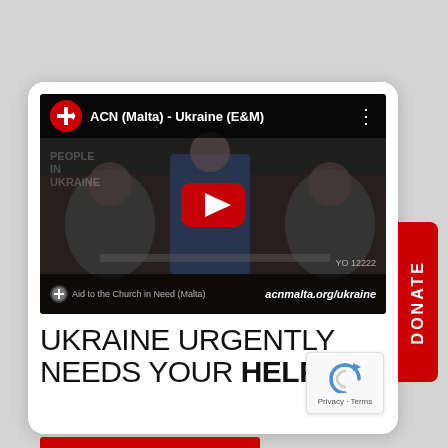[Figure (screenshot): YouTube video thumbnail showing ACN (Malta) - Ukraine (E&M) video with people being served food, red play button in center, acnmalta.org/ukraine shown in bottom bar]
UKRAINE URGENTLY NEEDS YOUR HELP!
DONATE